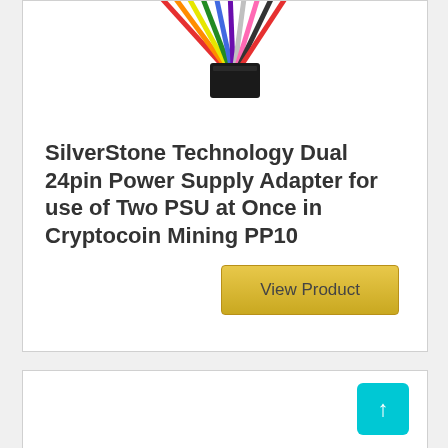[Figure (photo): Product image showing a multi-colored cable connector (24-pin power supply adapter) with colorful wires and a black connector end, partially visible at the top of the card.]
SilverStone Technology Dual 24pin Power Supply Adapter for use of Two PSU at Once in Cryptocoin Mining PP10
[Figure (other): Golden/yellow 'View Product' button]